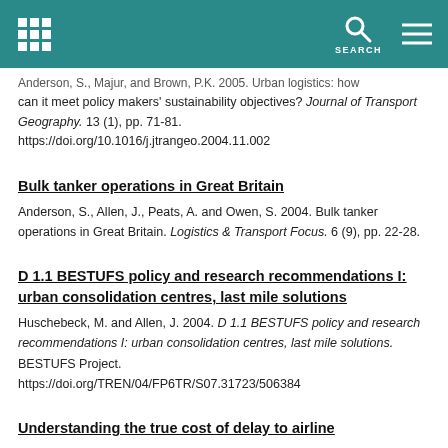SEARCH
Anderson, S., Majur, and Brown, P.K. 2005. Urban logistics: how can it meet policy makers' sustainability objectives? Journal of Transport Geography. 13 (1), pp. 71-81. https://doi.org/10.1016/j.jtrangeo.2004.11.002
Bulk tanker operations in Great Britain
Anderson, S., Allen, J., Peats, A. and Owen, S. 2004. Bulk tanker operations in Great Britain. Logistics & Transport Focus. 6 (9), pp. 22-28.
D 1.1 BESTUFS policy and research recommendations I: urban consolidation centres, last mile solutions
Huschebeck, M. and Allen, J. 2004. D 1.1 BESTUFS policy and research recommendations I: urban consolidation centres, last mile solutions. BESTUFS Project. https://doi.org/TREN/04/FP6TR/S07.31723/506384
Understanding the true cost of delay to airline